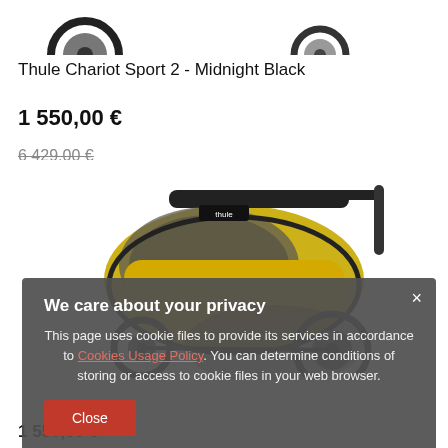[Figure (photo): Partial view of two bicycle wheels at the top of the page, showing the bottom portion of a child bike trailer]
Thule Chariot Sport 2 - Midnight Black
1 550,00 €
6 429,00 €
[Figure (photo): Yellow and black Thule Chariot Sport 2 child bike trailer, side/rear angle view]
We care about your privacy
This page uses cookie files to provide its services in accordance to Cookies Usage Policy. You can determine conditions of storing or access to cookie files in your web browser.
Close
1 550,00 €